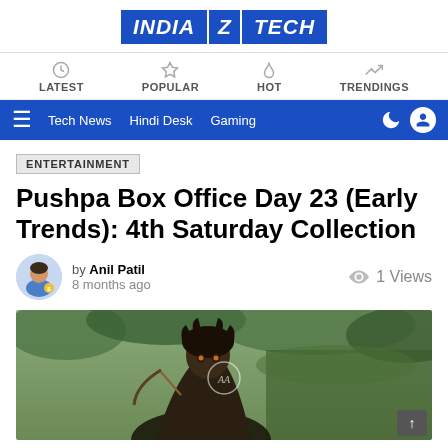INDIA Z TECH
LATEST | POPULAR | HOT | TRENDINGS
Tech News  Hindi Desk  Gaming
ENTERTAINMENT
Pushpa Box Office Day 23 (Early Trends): 4th Saturday Collection
by Anil Patil
8 months ago
1 Views
[Figure (photo): Movie poster of Pushpa featuring a male character with intense expression and wild hair against a green jungle background. A circular AA watermark is visible in the center.]